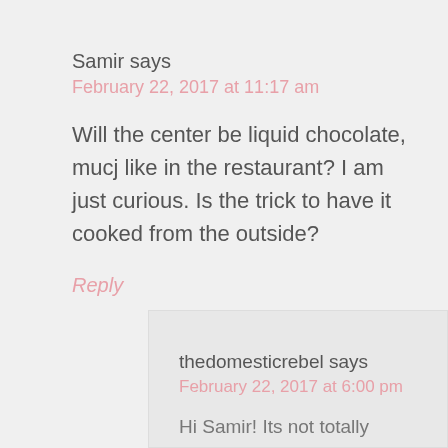Samir says
February 22, 2017 at 11:17 am
Will the center be liquid chocolate, mucj like in the restaurant? I am just curious. Is the trick to have it cooked from the outside?
Reply
thedomesticrebel says
February 22, 2017 at 6:00 pm
Hi Samir! Its not totally impossible...